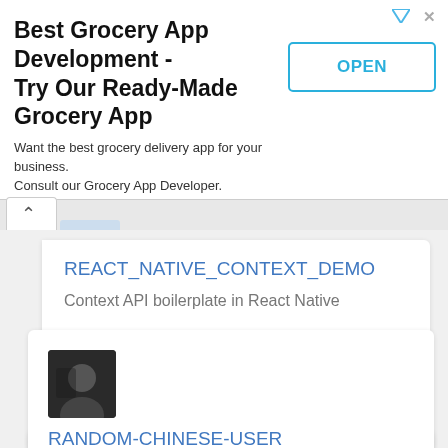[Figure (screenshot): Advertisement banner: Best Grocery App Development - Try Our Ready-Made Grocery App. Want the best grocery delivery app for your business. Consult our Grocery App Developer. applikeuber.com. OPEN button.]
REACT_NATIVE_CONTEXT_DEMO
Context API boilerplate in React Native
3  16  16
[Figure (photo): Black and white profile photo of a person]
RANDOM-CHINESE-USER